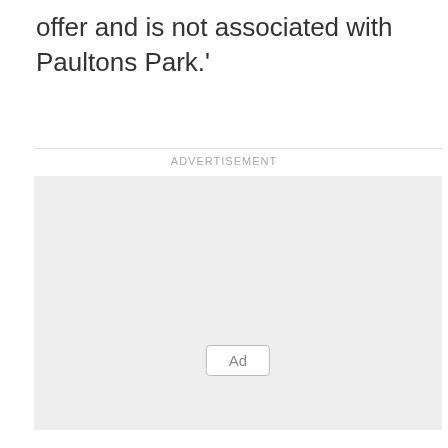offer and is not associated with Paultons Park.'
ADVERTISEMENT
[Figure (other): Advertisement placeholder box with an 'Ad' button label in the center-bottom area]